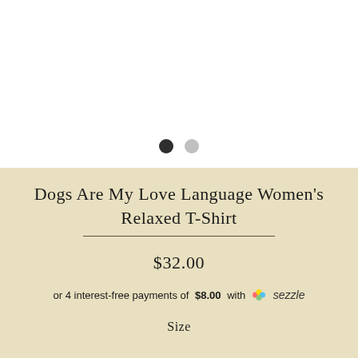[Figure (other): Image carousel navigation dots: one filled dark dot and one light gray dot indicating current and next slides]
Dogs Are My Love Language Women's Relaxed T-Shirt
$32.00
or 4 interest-free payments of $8.00 with Sezzle
Size